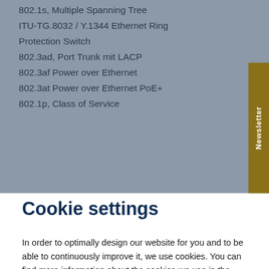802.1s, Multiple Spanning Tree
ITU-TG.8032 / Y.1344 Ethernet Ring Protection Switch
802.3ad, Port Trunk mit LACP
802.3af Power over Ethernet
802.3at Power over Ethernet PoE+
802.1p, Class of Service
Cookie settings
In order to optimally design our website for you and to be able to continuously improve it, we use cookies. You can find more information about the cookies we use in the individual settings.
Accept all
Accept necessary
Individual settings